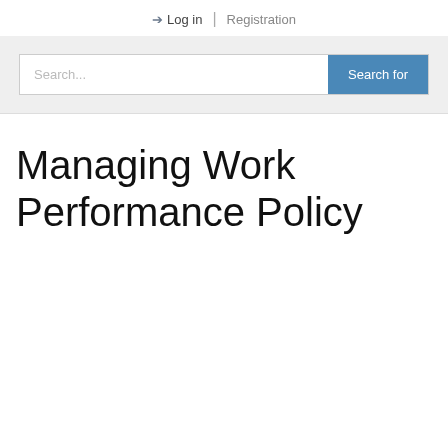Log in | Registration
[Figure (screenshot): Search bar with text input placeholder 'Search...' and a blue 'Search for' button on a light grey background]
Managing Work Performance Policy